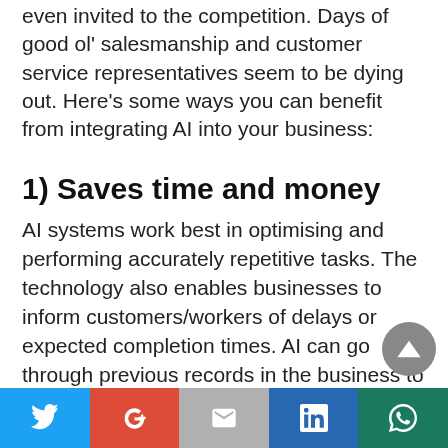even invited to the competition. Days of good ol' salesmanship and customer service representatives seem to be dying out. Here's some ways you can benefit from integrating AI into your business:
1) Saves time and money
AI systems work best in optimising and performing accurately repetitive tasks. The technology also enables businesses to inform customers/workers of delays or expected completion times. AI can go through previous records in the business to